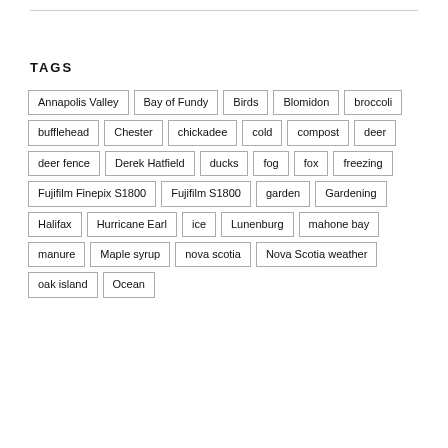TAGS
Annapolis Valley
Bay of Fundy
Birds
Blomidon
broccoli
bufflehead
Chester
chickadee
cold
compost
deer
deer fence
Derek Hatfield
ducks
fog
fox
freezing
Fujifilm Finepix S1800
Fujifilm S1800
garden
Gardening
Halifax
Hurricane Earl
ice
Lunenburg
mahone bay
manure
Maple syrup
nova scotia
Nova Scotia weather
oak island
Ocean